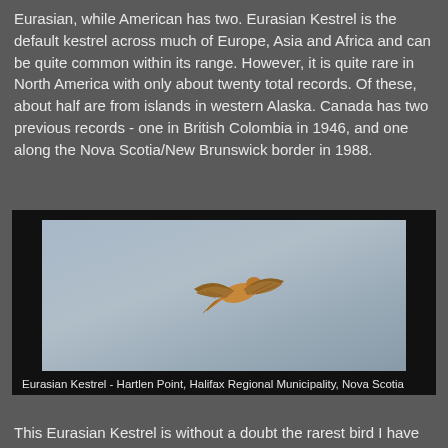Eurasian, while American has two. Eurasian Kestrel is the default kestrel across much of Europe, Asia and Africa and can be quite common within its range. However, it is quite rare in North America with only about twenty total records. Of these, about half are from islands in western Alaska. Canada has two previous records - one in British Colombia in 1946, and one along the Nova Scotia/New Brunswick border in 1988.
[Figure (photo): A Eurasian Kestrel bird in flight against a light blue-grey sky background. The bird is shown from below/side with wings spread and fanned tail visible. Photo taken at Hartlen Point, Halifax Regional Municipality, Nova Scotia.]
Eurasian Kestrel - Hartlen Point, Halifax Regional Municipality, Nova Scotia
This Eurasian Kestrel is without a doubt the rarest bird I have